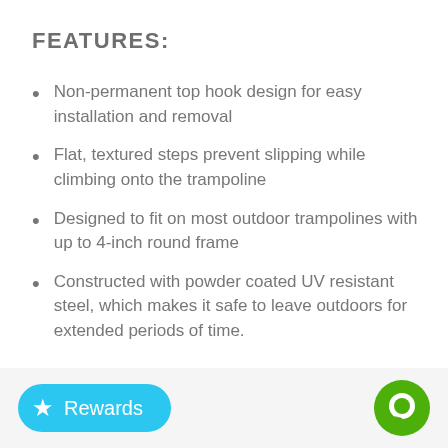FEATURES:
Non-permanent top hook design for easy installation and removal
Flat, textured steps prevent slipping while climbing onto the trampoline
Designed to fit on most outdoor trampolines with up to 4-inch round frame
Constructed with powder coated UV resistant steel, which makes it safe to leave outdoors for extended periods of time.
[Figure (other): Rewards button (cyan rounded pill with star icon and 'Rewards' text) and a green circular chat icon button at the bottom of the page]